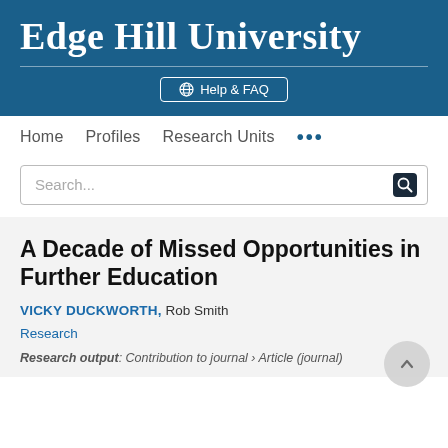Edge Hill University
Help & FAQ
Home   Profiles   Research Units   ...
A Decade of Missed Opportunities in Further Education
VICKY DUCKWORTH, Rob Smith
Research
Research output: Contribution to journal › Article (journal)